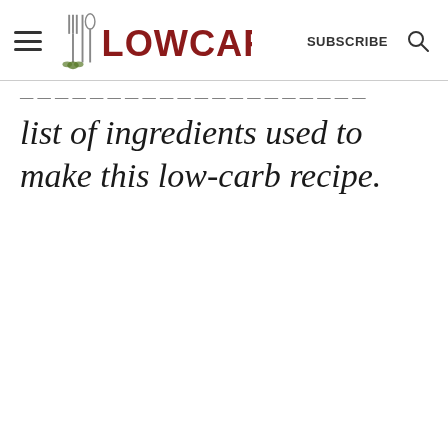LOWCARBYUM SUBSCRIBE
list of ingredients used to make this low-carb recipe.